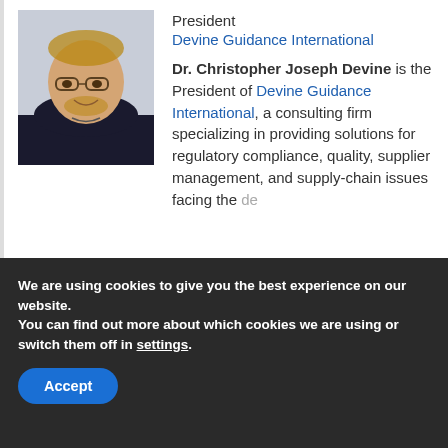[Figure (photo): Headshot of Dr. Christopher Joseph Devine, a middle-aged man with glasses and a beard, wearing a dark jacket, smiling.]
President
Devine Guidance International
Dr. Christopher Joseph Devine is the President of Devine Guidance International, a consulting firm specializing in providing solutions for regulatory compliance, quality, supplier management, and supply-chain issues facing the [device industry]
We are using cookies to give you the best experience on our website.
You can find out more about which cookies we are using or switch them off in settings.
Accept